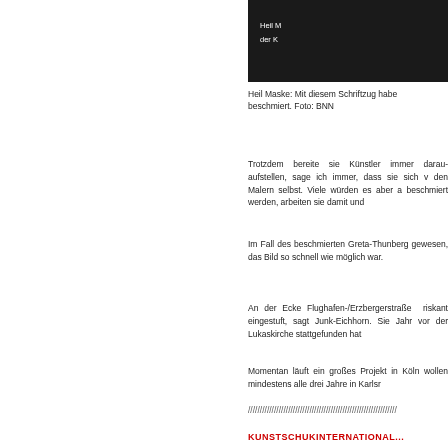[Figure (photo): Dark/black background image with white text reading 'Heil M...' and 'der K...' — a photo of graffiti on artwork]
Heil Maske: Mit diesem Schriftzug habe... beschmiert. Foto: BNN
Trotzdem bereite sie Künstler immer darau... aufstellen, sage ich immer, dass sie sich v... den Malern selbst. Viele würden es aber a... beschmiert werden, arbeiten sie damit und...
Im Fall des beschmierten Greta-Thunberg... gewesen, das Bild so schnell wie möglich... war.
An der Ecke Flughafen-/Erzbergerstraße... riskant eingestuft, sagt Junk-Eichhorn. Sie... Jahr vor der Lukaskirche stattgefunden hat...
Momentan läuft ein großes Projekt in Köln... wollen mindestens alle drei Jahre in Karlsr...
////////////////////////////////////////////////////
KUNSTSCHUKINTERNATIONAL...